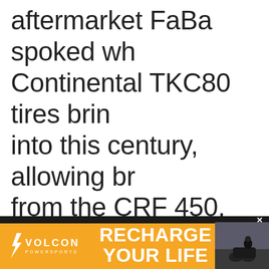aftermarket FaBa spoked wh Continental TKC80 tires brin into this century, allowing br from the CRF 450. That has t improvement over the Domin which featured a small singl drum brake at the rear.
[Figure (screenshot): Advertisement banner for VOLCON POWERSPORTS with orange background, logo on left, 'RECHARGE YOUR LIFE' text in center, and motorcycle rider image on right]